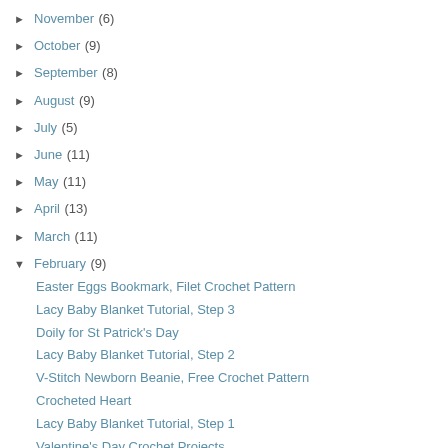► November (6)
► October (9)
► September (8)
► August (9)
► July (5)
► June (11)
► May (11)
► April (13)
► March (11)
▼ February (9)
Easter Eggs Bookmark, Filet Crochet Pattern
Lacy Baby Blanket Tutorial, Step 3
Doily for St Patrick's Day
Lacy Baby Blanket Tutorial, Step 2
V-Stitch Newborn Beanie, Free Crochet Pattern
Crocheted Heart
Lacy Baby Blanket Tutorial, Step 1
Valentine's Day Crochet Projects